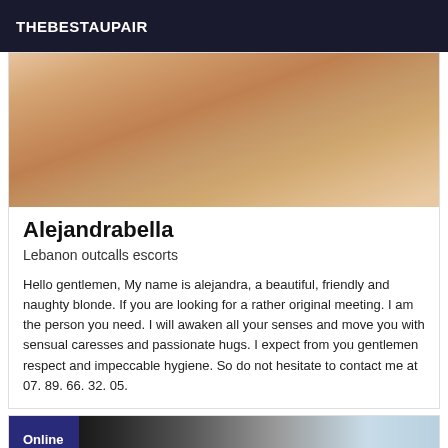THEBESTAUPAIR
[Figure (photo): Partial view of a woman crouching on marble steps, showing legs and torso]
Alejandrabella
Lebanon outcalls escorts
Hello gentlemen, My name is alejandra, a beautiful, friendly and naughty blonde. If you are looking for a rather original meeting. I am the person you need. I will awaken all your senses and move you with sensual caresses and passionate hugs. I expect from you gentlemen respect and impeccable hygiene. So do not hesitate to contact me at 07. 89. 66. 32. 05.
[Figure (photo): Partial bottom strip showing another profile photo with Online badge]